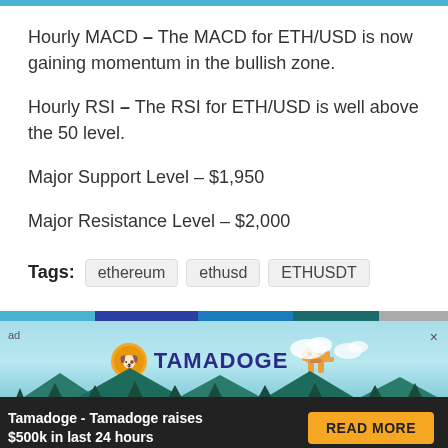Hourly MACD – The MACD for ETH/USD is now gaining momentum in the bullish zone.
Hourly RSI – The RSI for ETH/USD is well above the 50 level.
Major Support Level – $1,950
Major Resistance Level – $2,000
Tags: ethereum  ethusd  ETHUSDT
[Figure (infographic): Tamadoge advertisement banner with logo, dog mascot, and 'Tamadoge - Tamadoge raises $500k in last 24 hours' text with READ MORE button]